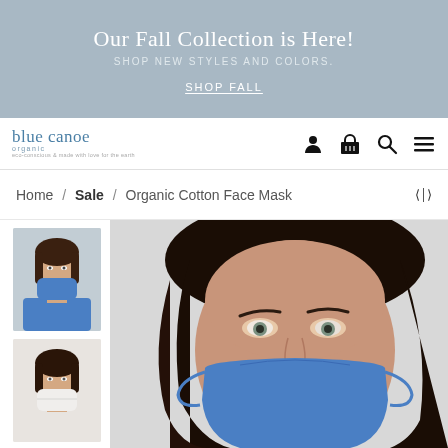Our Fall Collection is Here!
SHOP NEW STYLES AND COLORS.
SHOP FALL
[Figure (logo): Blue Canoe Organic logo with navigation icons (person, basket, search, menu)]
Home / Sale / Organic Cotton Face Mask
[Figure (photo): Two thumbnail photos: 1) Woman wearing a blue organic cotton face mask with blue top; 2) Woman wearing a white organic cotton face mask with white top]
[Figure (photo): Main large product photo: close-up of woman with dark hair wearing a blue organic cotton face mask against a light gray background]